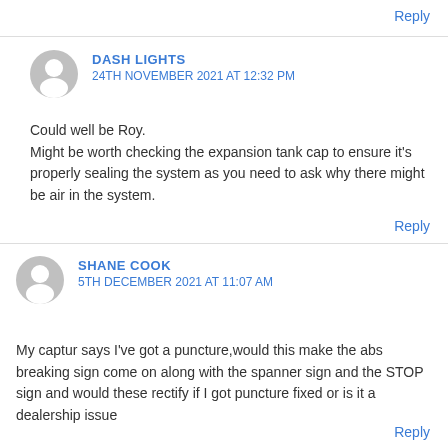Reply
DASH LIGHTS
24TH NOVEMBER 2021 AT 12:32 PM
Could well be Roy.
Might be worth checking the expansion tank cap to ensure it’s properly sealing the system as you need to ask why there might be air in the system.
Reply
SHANE COOK
5TH DECEMBER 2021 AT 11:07 AM
My captur says I’ve got a puncture,would this make the abs breaking sign come on along with the spanner sign and the STOP sign and would these rectify if I got puncture fixed or is it a dealership issue
Reply